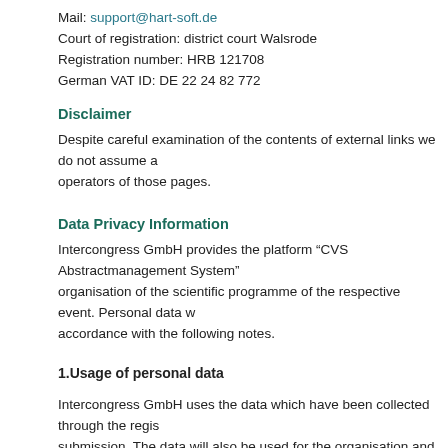Mail: support@hart-soft.de
Court of registration: district court Walsrode
Registration number: HRB 121708
German VAT ID: DE 22 24 82 772
Disclaimer
Despite careful examination of the contents of external links we do not assume any liability. The site operators of those pages.
Data Privacy Information
Intercongress GmbH provides the platform “CVS Abstractmanagement System” for the organisation of the scientific programme of the respective event. Personal data will be processed in accordance with the following notes.
1.Usage of personal data
Intercongress GmbH uses the data which have been collected through the registration and abstract submission. The data will also be used for the organisation and realisation of the event as well as for future scientific programmes of events which are organised by Intercongress GmbH, unless abstract is submitted by a co-author for other co-authors.
2.Data transmission to third parties
In the system registered abstract authors have the opportunity to see other authors who submitted the same conference (this is limited to participants in this location). Th